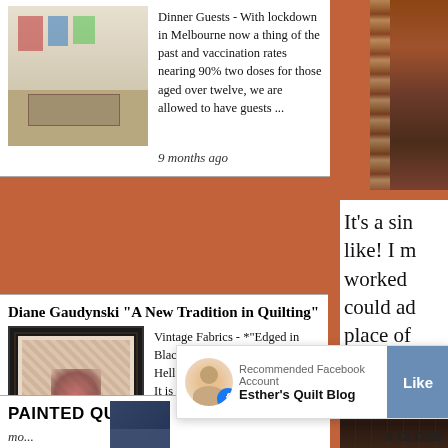[Figure (photo): Thumbnail image of a dining room or gallery space with artwork on walls]
Dinner Guests - With lockdown in Melbourne now a thing of the past and vaccination rates nearing 90% two doses for those aged over twelve, we are allowed to have guests ...
9 months ago
Diane Gaudynski "A New Tradition in Quilting"
[Figure (photo): Thumbnail of a quilt with dark border and floral pattern, 'Edged in Black' by Audrey Arno]
Vintage Fabrics - *"Edged in Black" by Audrey Arno, 7" x 7"* Hello from a long-absent quilter! It is autumn in Wisconsin, Oliver is sleeping near me, now 12 and sweete...
9 months ago
PAINTED QUILTS
[Figure (photo): Partial thumbnail of a painted quilt]
mo...
10 m...
[Figure (photo): Right sidebar top image - vertical strip of quilt/textile]
It's a sin like! I m worked could ad place of
[Figure (photo): Right sidebar bottom image - dark textile/quilt]
[Figure (screenshot): Facebook recommended account popup: Esther's Quilt Blog with Like button]
X CLOSE